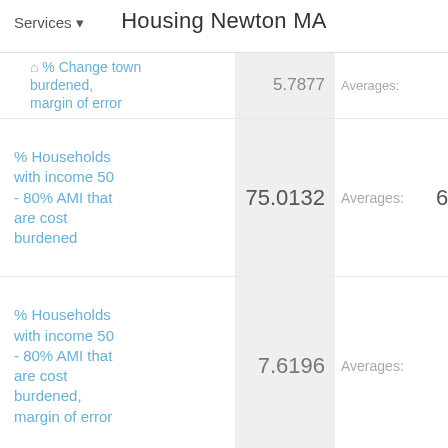Housing Newton MA
Services
| Label | Value | Avg Label | Avg Value | Extra |
| --- | --- | --- | --- | --- |
| % Change town burdened, margin of error | 5.7877 | Averages: | 11.76 | 7. |
| % Households with income 50 - 80% AMI that are cost burdened | 75.0132 | Averages: | 63.64 |  |
| % Households with income 50 - 80% AMI that are cost burdened, margin of error | 7.6196 | Averages: | 16 | 9. |
| % Households... |  |  |  |  |